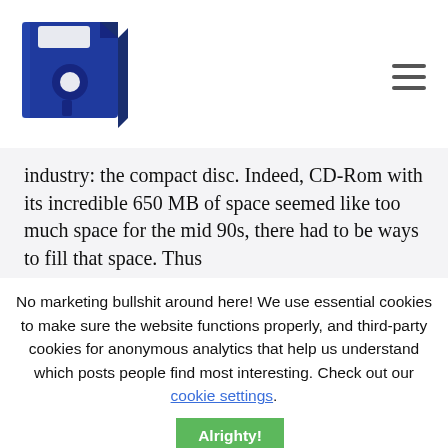[Figure (logo): Blue 3D floppy disk icon]
industry: the compact disc. Indeed, CD-Rom with its incredible 650 MB of space seemed like too much space for the mid 90s, there had to be ways to fill that space. Thus
No marketing bullshit around here! We use essential cookies to make sure the website functions properly, and third-party cookies for anonymous analytics that help us understand which posts people find most interesting. Check out our cookie settings. Alrighty!